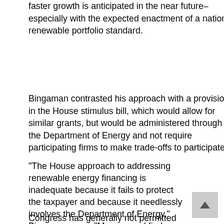faster growth is anticipated in the near future–especially with the expected enactment of a national renewable portfolio standard.
Bingaman contrasted his approach with a provision in the House stimulus bill, which would allow for similar grants, but would be administered through the Department of Energy and not require participating firms to make trade-offs to participate.
"The House approach to addressing renewable energy financing is inadequate because it fails to protect the taxpayer and because it needlessly involves the Department of Energy," Bingaman says. "My proposal finds common ground by offering an alternative to financing through the tax equity markets in a manner that protects the taxpayer and doesn't create a refundable tax credit in disguise."
Congress has generally not permitted